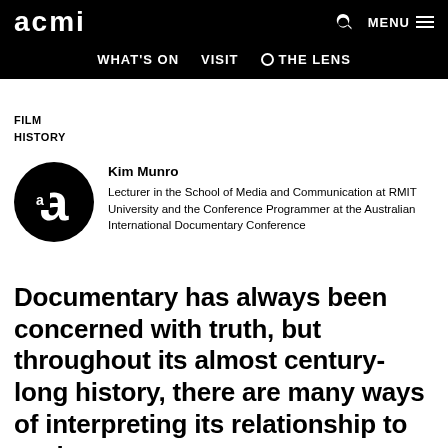acmi | WHAT'S ON  VISIT  THE LENS  MENU
FILM
HISTORY
[Figure (logo): ACMI circular logo with stylized letter 'a' on black background]
Kim Munro
Lecturer in the School of Media and Communication at RMIT University and the Conference Programmer at the Australian International Documentary Conference
Documentary has always been concerned with truth, but throughout its almost century-long history, there are many ways of interpreting its relationship to truth.